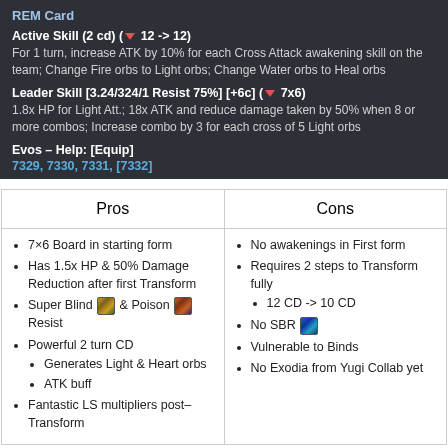REM Card
Active Skill (2 cd) ( ▼ 12 -> 12)
For 1 turn, increase ATK by 10% for each Cross Attack awakening skill on the team; Change Fire orbs to Light orbs; Change Water orbs to Heal orbs
Leader Skill [3.24/324/1 Resist 75%] [+6c] ( ▼ 7x6)
1.8x HP for Light Att.; 18x ATK and reduce damage taken by 50% when 8 or more combos; Increase combo by 3 for each cross of 5 Light orbs
Evos – Help: [Equip]
7329, 7330, 7331, [7332]
| Pros | Cons |
| --- | --- |
| 7×6 Board in starting form
Has 1.5x HP & 50% Damage Reduction after first Transform
Super Blind & Poison Resist
Powerful 2 turn CD
  Generates Light & Heart orbs
  ATK buff
Fantastic LS multipliers post–Transform | No awakenings in First form
Requires 2 steps to Transform fully
  12 CD -> 10 CD
No SBR
Vulnerable to Binds
No Exodia from Yugi Collab yet |